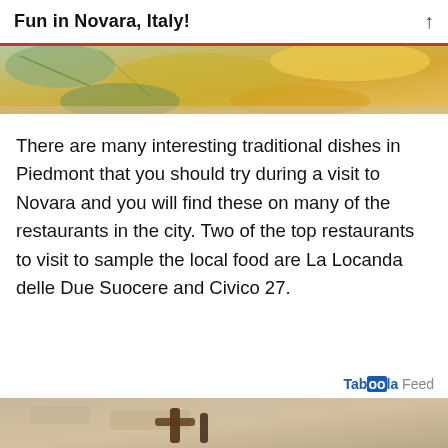Fun in Novara, Italy!
[Figure (photo): Close-up photo of traditional Italian food dishes with colorful pasta or vegetables in warm tones]
There are many interesting traditional dishes in Piedmont that you should try during a visit to Novara and you will find these on many of the restaurants in the city. Two of the top restaurants to visit to sample the local food are La Locanda delle Due Suocere and Civico 27.
Taboola Feed
[Figure (photo): Bottom partial photo showing sandals or footwear on a stone or sandy surface]